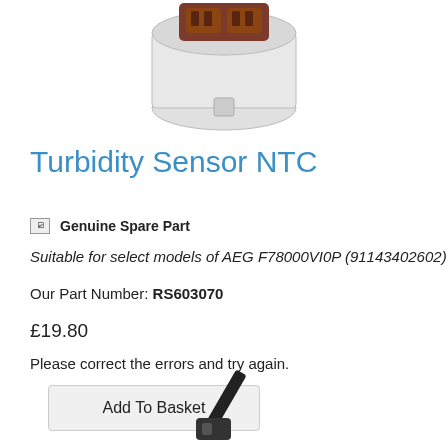[Figure (photo): Top portion of a turbidity sensor NTC component with a brown/dark red electrical connector housing and gray/white body, photographed on white background.]
Turbidity Sensor NTC
Genuine Spare Part  Genuine Spare Part
Suitable for select models of AEG F78000VI0P (91143402602)
Our Part Number: RS603070
£19.80
Please correct the errors and try again.
Add To Basket
[Figure (photo): Bottom portion of a black cable tie or zip tie photographed on white background, showing the locking head at bottom center and the strap extending upward diagonally.]